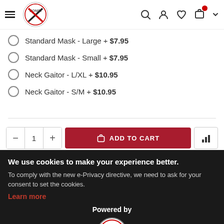[Figure (screenshot): Navigation bar with hamburger menu, BoniFi X logo, search icon, user icon, heart icon, cart icon with red badge, and dropdown arrow]
Standard Mask - Large + $7.95
Standard Mask - Small + $7.95
Neck Gaitor - L/XL + $10.95
Neck Gaitor - S/M + $10.95
[Figure (screenshot): Add to cart controls: minus button, quantity 1, plus button, red ADD TO CART button with cart icon, bar chart icon button]
We use cookies to make your experience better. To comply with the new e-Privacy directive, we need to ask for your consent to set the cookies.
Learn more
Powered by
[Figure (logo): BoniFi X circular logo on dark background]
ALLOW COOKIES